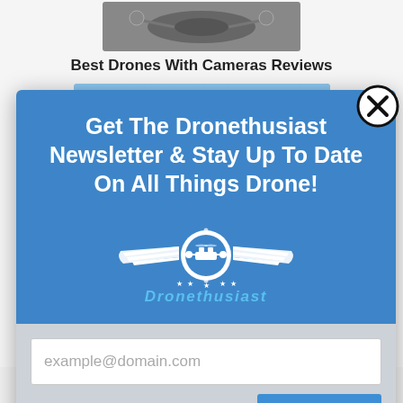[Figure (screenshot): Background webpage showing 'Best Drones With Cameras Reviews' title and a partial drone photo]
[Figure (screenshot): Modal popup with blue header and gray input section. Header text: 'Get The Dronethusiast Newsletter & Stay Up To Date On All Things Drone!', with drone logo. Input field placeholder: 'example@domain.com', and SUBSCRIBE button.]
example@domain.com
SUBSCRIBE